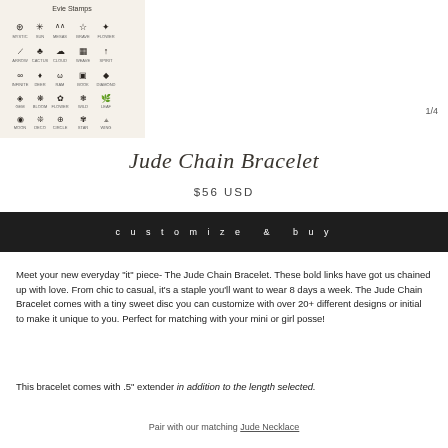[Figure (illustration): A cream-colored chart showing multiple small stamp/icon designs arranged in a grid with the header 'Evie Stamps'. Icons include various symbols, animals, plants, and objects in a minimalist style.]
1/4
Jude Chain Bracelet
$56 USD
customize & buy
Meet your new everyday "it" piece- The Jude Chain Bracelet. These bold links have got us chained up with love. From chic to casual, it's a staple you'll want to wear 8 days a week. The Jude Chain Bracelet comes with a tiny sweet disc you can customize with over 20+ different designs or initial to make it unique to you. Perfect for matching with your mini or girl posse!
This bracelet comes with .5" extender in addition to the length selected.
Pair with our matching Jude Necklace